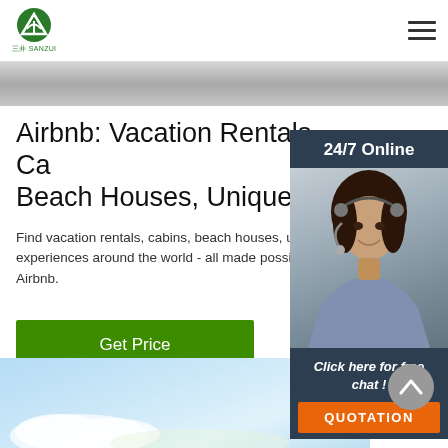[Figure (logo): Green circular logo with mountain/tent icon, text '三井 SANZUI' below]
[Figure (illustration): Hamburger menu icon (three horizontal lines) in top right]
[Figure (photo): Gray metallic banner strip below header]
Airbnb: Vacation Rentals, Ca Beach Houses, Unique ...
Find vacation rentals, cabins, beach houses, uni experiences around the world - all made possib Airbnb.
[Figure (other): Green 'Get Price' button]
[Figure (photo): 24/7 Online chat widget sidebar with woman wearing headset, dark blue background, orange QUOTATION button]
[Figure (photo): Light blue sky background image at bottom with clouds]